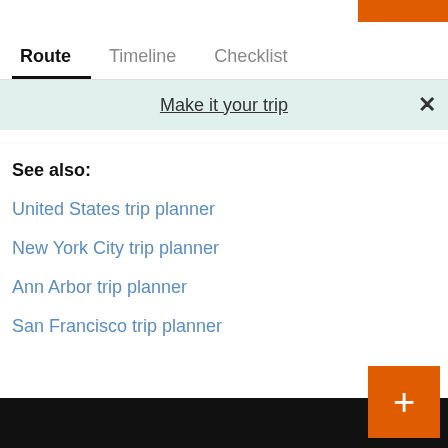Route  Timeline  Checklist
Make it your trip
See also:
United States trip planner
New York City trip planner
Ann Arbor trip planner
San Francisco trip planner